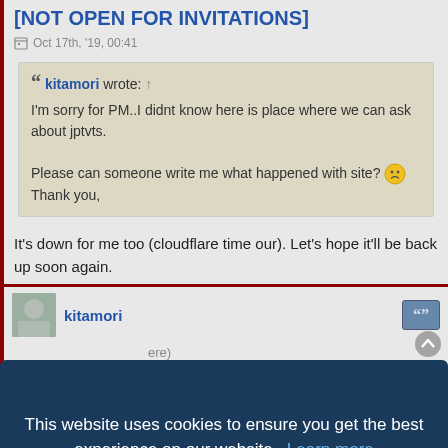[NOT OPEN FOR INVITATIONS]
Oct 17th, '19, 00:41
kitamori wrote: ↑
I'm sorry for PM..I didnt know here is place where we can ask about jptvts.

Please can someone write me what happened with site? 😟
Thank you,
It's down for me too (cloudflare time our). Let's hope it'll be back up soon again.
kitamori
This website uses cookies to ensure you get the best experience on our website. Learn more
Got it!